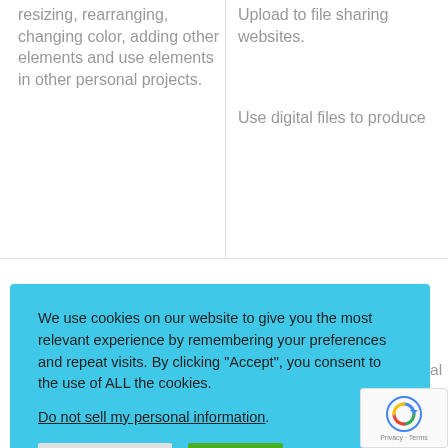resizing, rearranging, changing color, adding other elements and use elements in other personal projects.
Upload to file sharing websites.
Use digital files to produce
We use cookies on our website to give you the most relevant experience by remembering your preferences and repeat visits. By clicking “Accept”, you consent to the use of ALL the cookies.
Do not sell my personal information.
Share the URL of the original file
Claim copyright of the original design
Use on your own commercial website